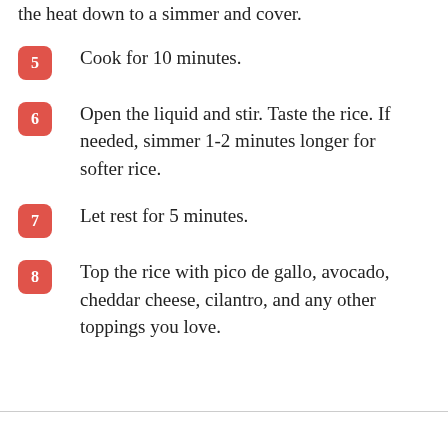the heat down to a simmer and cover.
5   Cook for 10 minutes.
6   Open the liquid and stir. Taste the rice. If needed, simmer 1-2 minutes longer for softer rice.
7   Let rest for 5 minutes.
8   Top the rice with pico de gallo, avocado, cheddar cheese, cilantro, and any other toppings you love.